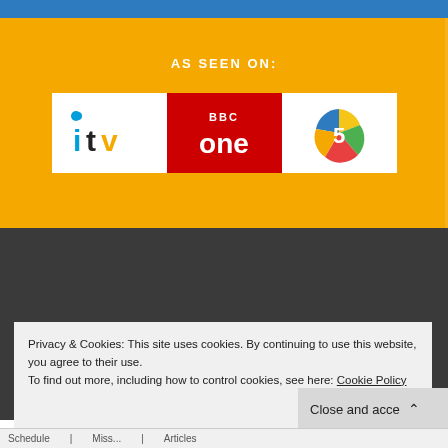[Figure (logo): Blue top navigation bar]
AS SEEN ON:
[Figure (logo): TV channel logos: ITV, BBC One, Channel 5]
[Figure (screenshot): Dark grey section (website content area, obscured)]
Privacy & Cookies: This site uses cookies. By continuing to use this website, you agree to their use.
To find out more, including how to control cookies, see here: Cookie Policy
Close and acce